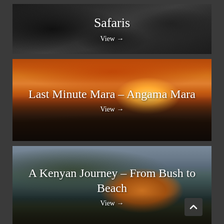[Figure (photo): Black and white close-up photo of an animal (gorilla or similar safari animal) with text overlay 'Safaris' and 'View →' link]
[Figure (photo): Sunset panoramic photo of Angama Mara safari lodge with red outdoor seating area overlooking the Maasai Mara plains at golden hour, with text overlay 'Last Minute Mara – Angama Mara' and 'View →' link]
[Figure (photo): Dusk photo of a Kenyan lodge with thatched roof buildings lit from inside, trees in foreground, outdoor dining tables with white cloths, colorful furniture, with text overlay 'A Kenyan Journey – From Bush to Beach' and 'View →' link]